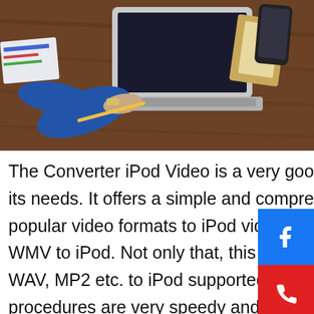[Figure (photo): Overhead view of a person in a suit jacket working on a laptop at a wooden desk, with a smartphone, notebook, and papers visible.]
The Converter iPod Video is a very good video converter suitable for your iPod and its needs. It offers a simple and comprehensive way on how to convert all of the popular video formats to iPod video, like transforming AVI to iPod, Mpeg to iPod, WMV to iPod. Not only that, this also features the ability to transfer audio files with WAV, MP2 etc. to iPod supported with mp3 configurations. All the conversions procedures are very speedy and simple to do. And the product of this video conversion is supported by the iPod system requirements and configurations so you can enjoy watching your favorite movies, home movies, music videos and